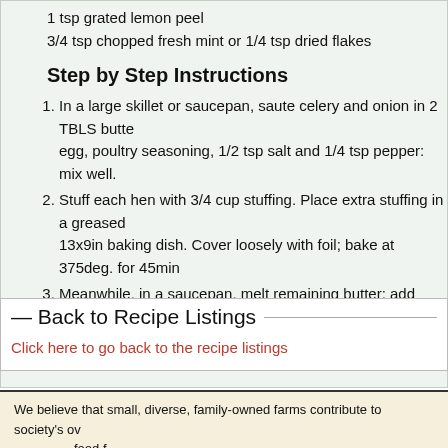1 tsp grated lemon peel
3/4 tsp chopped fresh mint or 1/4 tsp dried flakes
Step by Step Instructions
1. In a large skillet or saucepan, saute celery and onion in 2 TBLS butter egg, poultry seasoning, 1/2 tsp salt and 1/4 tsp pepper: mix well.
2. Stuff each hen with 3/4 cup stuffing. Place extra stuffing in a greased 13x9in baking dish. Cover loosely with foil; bake at 375deg. for 45min.
3. Meanwhile, in a saucepan, melt remaining butter; add garlic, lemon p until a meat thermometer reads 180deg. for hens and 165 for stuffing.
Back to Recipe Listings
Click here to go back to the recipe listings
We believe that small, diverse, family-owned farms contribute to society's overall well-being and food f
This market is using the Locally Grown online farmers market system. Mo locallygrown.net/faq. Legal information about